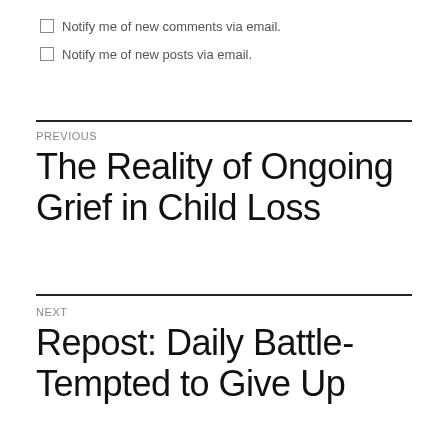Notify me of new comments via email.
Notify me of new posts via email.
PREVIOUS
The Reality of Ongoing Grief in Child Loss
NEXT
Repost: Daily Battle- Tempted to Give Up